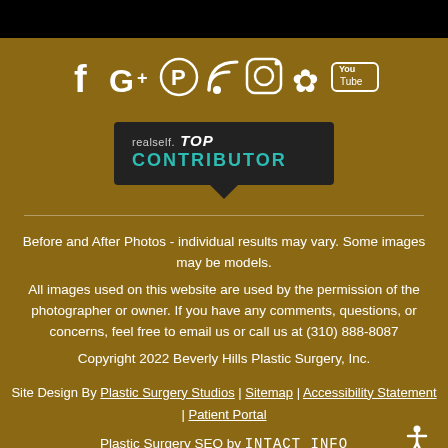[Figure (other): Social media icons: Facebook, Google+, Pinterest, RSS, Instagram, Yelp, YouTube]
[Figure (logo): RealSelf TOP CONTRIBUTOR badge - dark speech bubble with realself. TOP CONTRIBUTOR text]
Before and After Photos - individual results may vary. Some images may be models.
All images used on this website are used by the permission of the photographer or owner. If you have any comments, questions, or concerns, feel free to email us or call us at (310) 888-8087
Copyright 2022 Beverly Hills Plastic Surgery, Inc.
Site Design By Plastic Surgery Studios | Sitemap | Accessibility Statement | Patient Portal
Plastic Surgery SEO by INTACT INFO